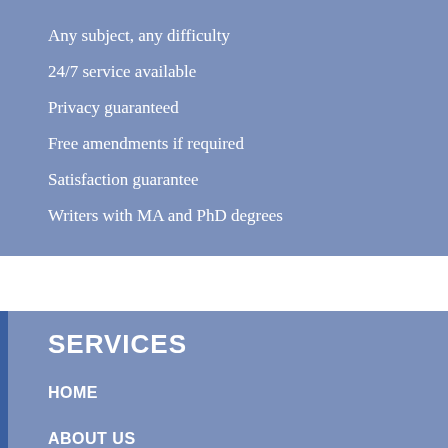Any subject, any difficulty
24/7 service available
Privacy guaranteed
Free amendments if required
Satisfaction guarantee
Writers with MA and PhD degrees
SERVICES
HOME
ABOUT US
FREE ESSAYS
LATEST ESSAYS